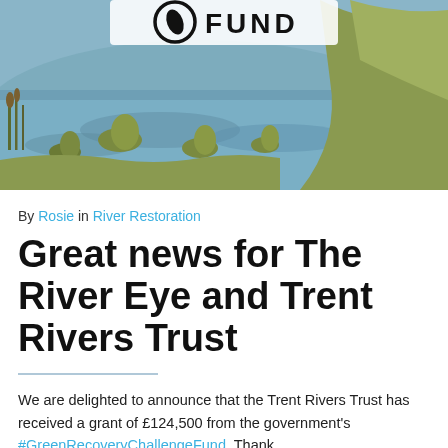[Figure (photo): Wetland/river scene with water, grass tussocks and reeds, with a partial logo overlay showing 'FUND' text at the top]
By Rosie in River Restoration
Great news for The River Eye and Trent Rivers Trust
We are delighted to announce that the Trent Rivers Trust has received a grant of £124,500 from the government's #GreenRecoveryChallengeFund. Thank